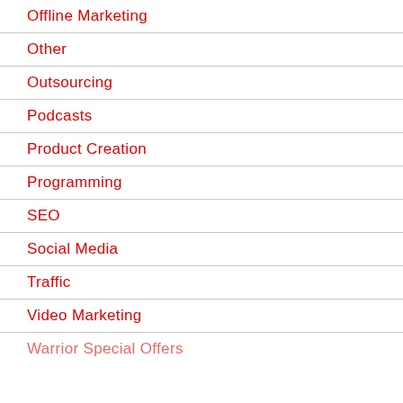Offline Marketing
Other
Outsourcing
Podcasts
Product Creation
Programming
SEO
Social Media
Traffic
Video Marketing
Warrior Special Offers